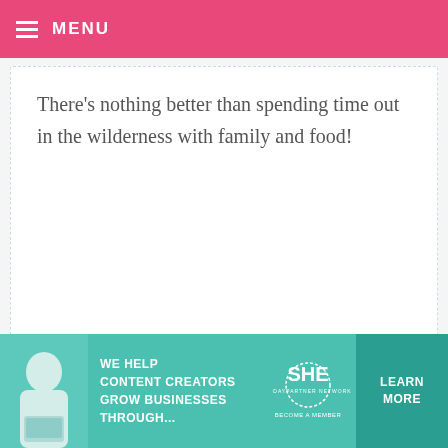MENU
There’s nothing better than spending time out in the wilderness with family and food!
LILI TAL — JULY 22, 2013 @ 3:35 AM REPLY
Currently Busy in planning annual leave will be in two weeks. Vacation includes hiking and camping. Fun!!!
[Figure (photo): Advertisement banner: SHE Partner Network - We Help Content Creators Grow Businesses Through... Learn More]